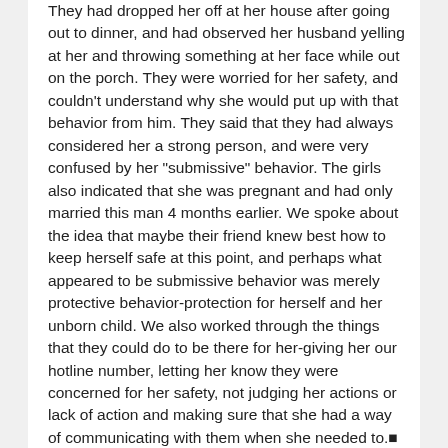They had dropped her off at her house after going out to dinner, and had observed her husband yelling at her and throwing something at her face while out on the porch. They were worried for her safety, and couldn't understand why she would put up with that behavior from him. They said that they had always considered her a strong person, and were very confused by her "submissive" behavior. The girls also indicated that she was pregnant and had only married this man 4 months earlier. We spoke about the idea that maybe their friend knew best how to keep herself safe at this point, and perhaps what appeared to be submissive behavior was merely protective behavior-protection for herself and her unborn child. We also worked through the things that they could do to be there for her-giving her our hotline number, letting her know they were concerned for her safety, not judging her actions or lack of action and making sure that she had a way of communicating with them when she needed to.■